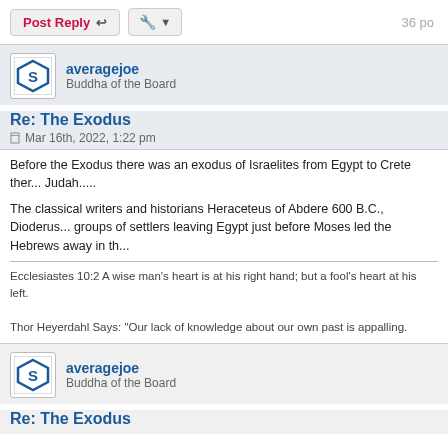Post Reply | Tools | 36 po
averagejoe
Buddha of the Board
Re: The Exodus
Mar 16th, 2022, 1:22 pm
Before the Exodus there was an exodus of Israelites from Egypt to Crete ther... Judah.....
The classical writers and historians Heraceteus of Abdere 600 B.C., Dioderus... groups of settlers leaving Egypt just before Moses led the Hebrews away in th...
Ecclesiastes 10:2 A wise man's heart is at his right hand; but a fool's heart at his left.

Thor Heyerdahl Says: "Our lack of knowledge about our own past is appalling.
averagejoe
Buddha of the Board
Re: The Exodus